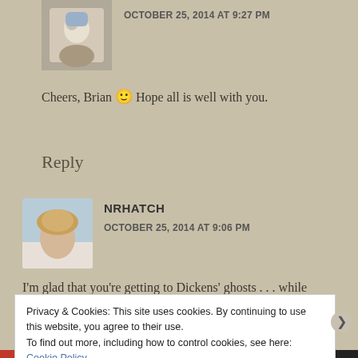[Figure (photo): Avatar photo of user (partially visible at top), blue/white cartoon character]
OCTOBER 25, 2014 AT 9:27 PM
Cheers, Brian 🙂 Hope all is well with you.
Reply
[Figure (photo): Avatar photo of NRHATCH, woman with blonde hair outdoors]
NRHATCH
OCTOBER 25, 2014 AT 9:06 PM
I'm glad that you're getting to Dickens' ghosts . . . while
Privacy & Cookies: This site uses cookies. By continuing to use this website, you agree to their use.
To find out more, including how to control cookies, see here: Cookie Policy
Close and accept